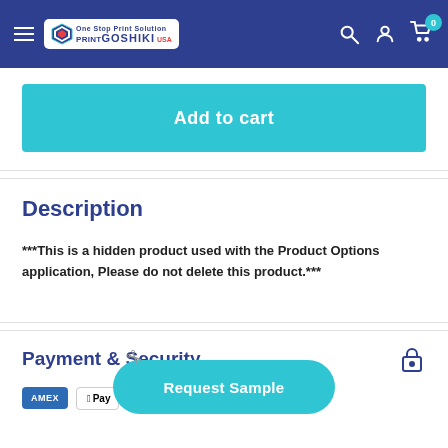PrintGoshiki USA — navigation header with hamburger menu, logo, search, account, and cart icons
Add to cart
Description
***This is a hidden product used with the Product Options application, Please do not delete this product.***
Payment & Security
[Figure (other): Payment method logos: Amex, Apple Pay, Mastercard, Visa]
Request Sample